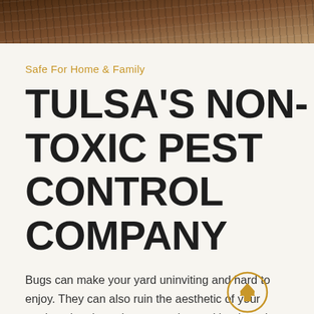[Figure (photo): Decorative photo banner at top of page showing a dark brown wooden/bark texture]
Safe For Home & Family
TULSA'S NON-TOXIC PEST CONTROL COMPANY
Bugs can make your yard uninviting and hard to enjoy. They can also ruin the aesthetic of your yard, eating through your garden and landscaping. However, many people are cautious about calling a pest